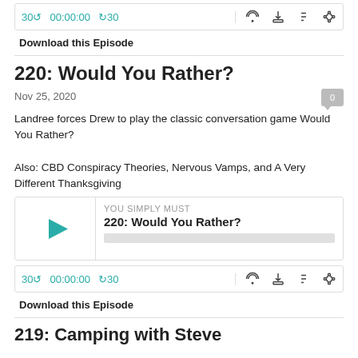[Figure (screenshot): Podcast player bar with rewind 30, time 00:00:00, forward 30, and icons for subscribe, download, embed, and share]
Download this Episode
220: Would You Rather?
Nov 25, 2020
Landree forces Drew to play the classic conversation game Would You Rather?

Also: CBD Conspiracy Theories, Nervous Vamps, and A Very Different Thanksgiving
[Figure (screenshot): Embedded audio player widget showing YOU SIMPLY MUST / 220: Would You Rather? with play button and progress bar]
[Figure (screenshot): Podcast player bar with rewind 30, time 00:00:00, forward 30, and icons]
Download this Episode
219: Camping with Steve